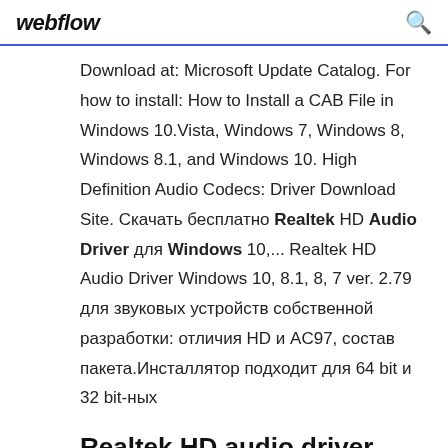webflow
Download at: Microsoft Update Catalog. For how to install: How to Install a CAB File in Windows 10.Vista, Windows 7, Windows 8, Windows 8.1, and Windows 10. High Definition Audio Codecs: Driver Download Site. Скачать бесплатно Realtek HD Audio Driver для Windows 10,... Realtek HD Audio Driver Windows 10, 8.1, 8, 7 ver. 2.79 для звуковых устройств собственной разработки: отличия HD и AC97, состав пакета.Инсталлятор подходит для 64 bit и 32 bit-ных
Realtek HD audio driver package. The package includes: